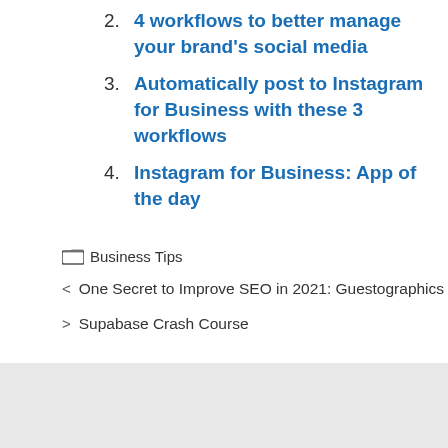2. 4 workflows to better manage your brand's social media
3. Automatically post to Instagram for Business with these 3 workflows
4. Instagram for Business: App of the day
Business Tips
< One Secret to Improve SEO in 2021: Guestographics
> Supabase Crash Course
Search ...